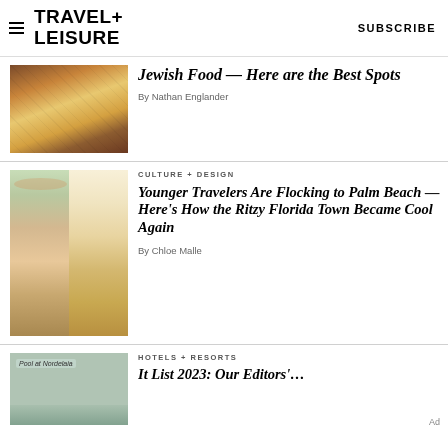TRAVEL+ LEISURE | SUBSCRIBE
[Figure (photo): Food dishes on a table]
Jewish Food — Here are the Best Spots
By Nathan Englander
[Figure (photo): Two hotel/resort images side by side: outdoor pool area and elegant hotel lobby]
CULTURE + DESIGN
Younger Travelers Are Flocking to Palm Beach — Here's How the Ritzy Florida Town Became Cool Again
By Chloe Malle
[Figure (photo): Pool at Nordelaia]
HOTELS + RESORTS